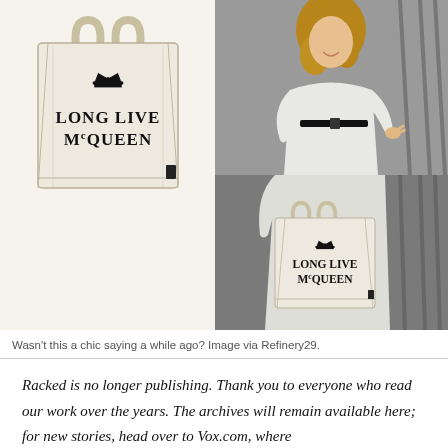[Figure (photo): Left: A canvas tote bag with cream/off-white background showing a crown symbol above bold text reading 'LONG LIVE McQUEEN'. Right: A woman in a white dress and black belt holding the same 'LONG LIVE McQUEEN' canvas tote bag, photographed outdoors.]
Wasn't this a chic saying a while ago? Image via Refinery29.
Racked is no longer publishing. Thank you to everyone who read our work over the years. The archives will remain available here; for new stories, head over to Vox.com, where